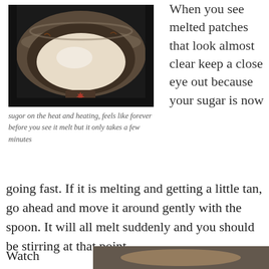[Figure (photo): A worn skillet/frying pan on a stove with sugar melting inside, showing a white creamy liquid pool in the center. The pan handle has a Canadian maple leaf design.]
sugor on the heat and heating, feels like forever before you see it melt but it only takes a few minutes
When you see melted patches that look almost clear keep a close eye out because your sugar is now going fast. If it is melting and getting a little tan, go ahead and move it around gently with the spoon. It will all melt suddenly and you should be stirring at that point.
Watch
[Figure (photo): Partial bottom photo, likely showing the sugar melting process further.]